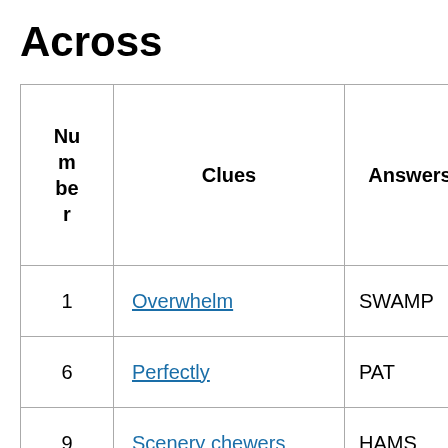Across
| Number | Clues | Answers |
| --- | --- | --- |
| 1 | Overwhelm | SWAMP |
| 6 | Perfectly | PAT |
| 9 | Scenery chewers | HAMS |